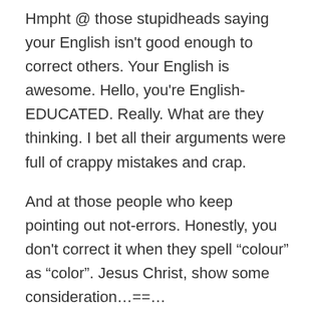Hmpht @ those stupidheads saying your English isn't good enough to correct others. Your English is awesome. Hello, you're English-EDUCATED. Really. What are they thinking. I bet all their arguments were full of crappy mistakes and crap.
And at those people who keep pointing out not-errors. Honestly, you don't correct it when they spell “colour” as “color”. Jesus Christ, show some consideration…==…
Besides, as an analogy, even though I am completely clueless when it comes to html or whatever, I would still point it out if I saw this random dead image. Why should spelling correction be something different?